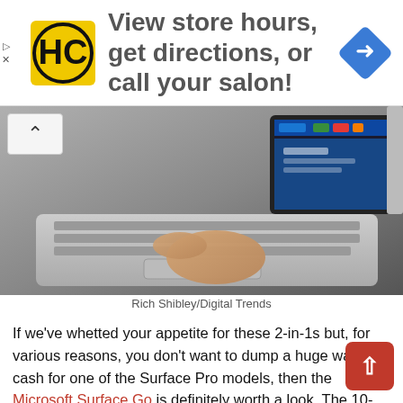[Figure (other): Advertisement banner: HC logo, text 'View store hours, get directions, or call your salon!', blue direction sign diamond icon]
[Figure (photo): Close-up photo of a person's hand using the trackpad on a Microsoft Surface Go keyboard, with the tablet screen visible in the background showing Windows 10]
Rich Shibley/Digital Trends
If we've whetted your appetite for these 2-in-1s but, for various reasons, you don't want to dump a huge wad of cash for one of the Surface Pro models, then the Microsoft Surface Go is definitely worth a look. The 10-inch Surface Go is a more budget-minded alternative to the high-end Surface Pro lineup, packing